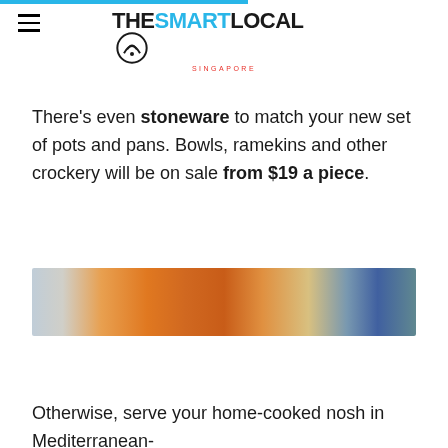THE SMART LOCAL SINGAPORE
There's even stoneware to match your new set of pots and pans. Bowls, ramekins and other crockery will be on sale from $19 a piece.
[Figure (photo): A blurred photo showing orange and blue store shelving or kitchenware products on display.]
Otherwise, serve your home-cooked nosh in Mediterranean-